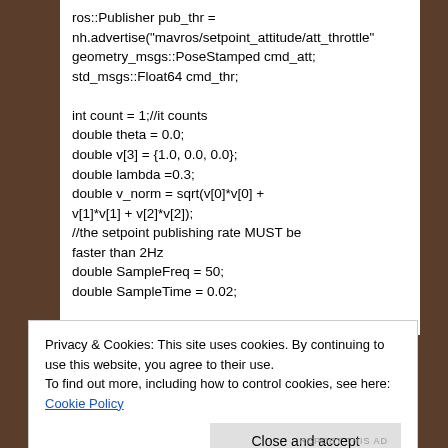ros::Publisher pub_thr =
nh.advertise("mavros/setpoint_attitude/att_throttle"
geometry_msgs::PoseStamped cmd_att;
std_msgs::Float64 cmd_thr;

int count = 1;//it counts
double theta = 0.0;
double v[3] = {1.0, 0.0, 0.0};
double lambda =0.3;
double v_norm = sqrt(v[0]*v[0] +
v[1]*v[1] + v[2]*v[2]);
//the setpoint publishing rate MUST be faster than 2Hz
double SampleFreq = 50;
double SampleTime = 0.02;
Privacy & Cookies: This site uses cookies. By continuing to use this website, you agree to their use.
To find out more, including how to control cookies, see here: Cookie Policy
Close and accept